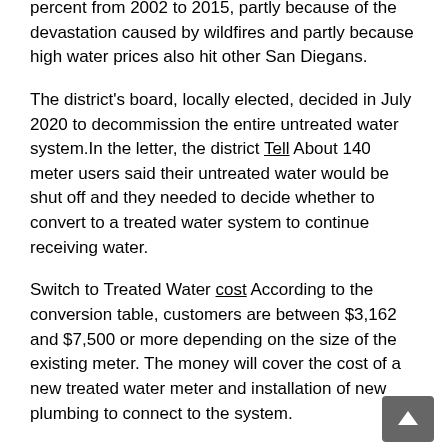percent from 2002 to 2015, partly because of the devastation caused by wildfires and partly because high water prices also hit other San Diegans.
The district’s board, locally elected, decided in July 2020 to decommission the entire untreated water system. In the letter, the district Tell About 140 meter users said their untreated water would be shut off and they needed to decide whether to convert to a treated water system to continue receiving water.
Switch to Treated Water cost According to the conversion table, customers are between $3,162 and $7,500 or more depending on the size of the existing meter. The money will cover the cost of a new treated water meter and installation of new plumbing to connect to the system.
So far, 75 customers have opted to convert to a treated water system or disconnect their meters from an untreated water system, according to a district spokesperson.